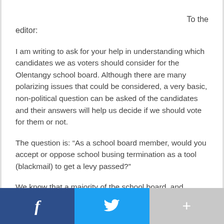To the editor:
I am writing to ask for your help in understanding which candidates we as voters should consider for the Olentangy school board. Although there are many polarizing issues that could be considered, a very basic, non-political question can be asked of the candidates and their answers will help us decide if we should vote for them or not.
The question is: “As a school board member, would you accept or oppose school busing termination as a tool (blackmail) to get a levy passed?”
We know that a majority of the school board, and specifically our current school board president, accepts the use of school bussing as virtual blackmail per their past votes and statements.
[Figure (infographic): Social sharing bar with three buttons: Facebook (dark blue, f icon), Twitter (light blue, bird icon), and More/Plus (gray, + icon)]